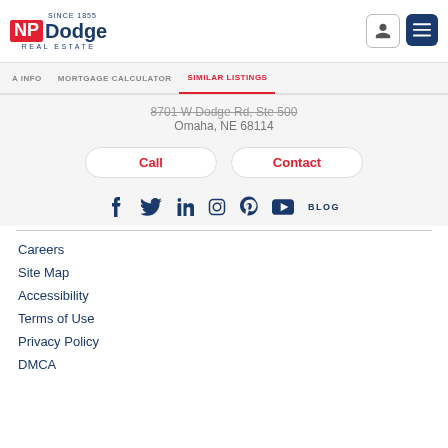[Figure (logo): NP Dodge Real Estate logo - red NP block with blue Dodge text, Since 1855]
A INFO   MORTGAGE CALCULATOR   SIMILAR LISTINGS
8701 W Dodge Rd, Ste 500
Omaha, NE 68114
[Figure (other): Call and Contact buttons]
[Figure (other): Social media icons: Facebook, Twitter, LinkedIn, Instagram, Pinterest, YouTube, BLOG]
Careers
Site Map
Accessibility
Terms of Use
Privacy Policy
DMCA